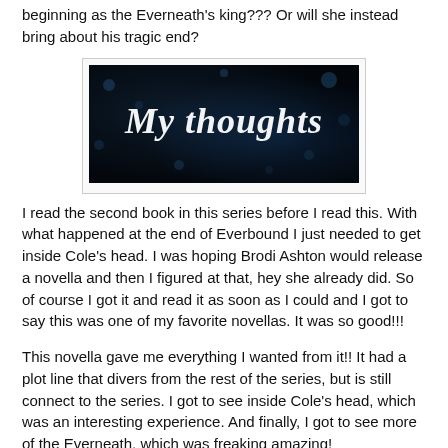beginning as the Everneath's king??? Or will she instead bring about his tragic end?
[Figure (illustration): Dark blue/black bokeh background with cursive white text reading 'My thoughts']
I read the second book in this series before I read this. With what happened at the end of Everbound I just needed to get inside Cole's head. I was hoping Brodi Ashton would release a novella and then I figured at that, hey she already did. So of course I got it and read it as soon as I could and I got to say this was one of my favorite novellas. It was so good!!!
This novella gave me everything I wanted from it!! It had a plot line that divers from the rest of the series, but is still connect to the series. I got to see inside Cole's head, which was an interesting experience. And finally, I got to see more of the Everneath, which was freaking amazing!
One of the best parts of this novella was being inside Cole's head and saying what he thinks of things. Not only in the